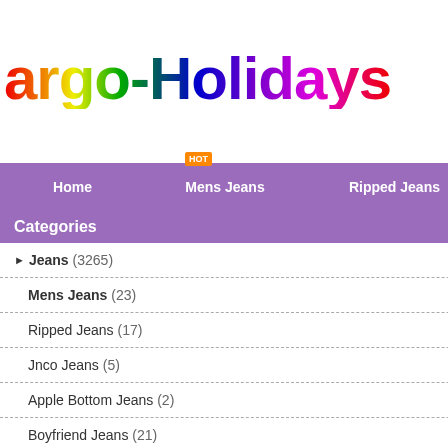argo-Holidays
Home   Mens Jeans   Ripped Jeans
Home :: Jeans :: Mens Jeans :: mens jeans
Categories
Jeans (3265)
Mens Jeans (23)
Ripped Jeans (17)
Jnco Jeans (5)
Apple Bottom Jeans (2)
Boyfriend Jeans (21)
High Waisted Jeans (23)
Jeans For Women (19)
Amiri Jeans (25)
[Figure (photo): A man wearing light blue slim-fit jeans and a white t-shirt, shown from waist down, walking pose.]